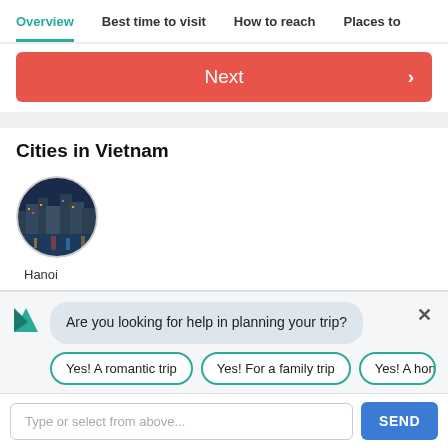Overview | Best time to visit | How to reach | Places to
[Figure (other): Red/salmon colored Next button with right arrow chevron]
Cities in Vietnam
[Figure (photo): Circular photo of Hanoi city skyline at night with colorful lights reflected in water]
Hanoi
Are you looking for help in planning your trip?
Yes! A romantic trip
Yes! For a family trip
Yes! A honey...
Type or select from above...
SEND